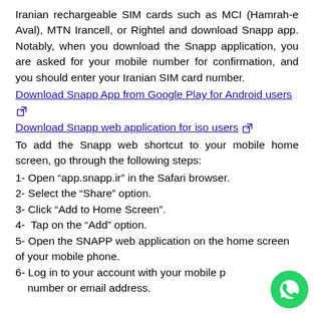Iranian rechargeable SIM cards such as MCI (Hamrah-e Aval), MTN Irancell, or Rightel and download Snapp app. Notably, when you download the Snapp application, you are asked for your mobile number for confirmation, and you should enter your Iranian SIM card number.
Download Snapp App from Google Play for Android users [external link icon]
Download Snapp web application for iso users [external link icon]
To add the Snapp web shortcut to your mobile home screen, go through the following steps:
1- Open “app.snapp.ir” in the Safari browser.
2- Select the “Share” option.
3- Click “Add to Home Screen”.
4-  Tap on the “Add” option.
5- Open the SNAPP web application on the home screen of your mobile phone.
6- Log in to your account with your mobile phone number or email address.